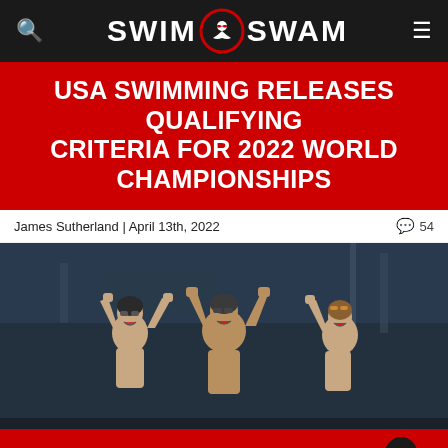SWIM SWAM
USA SWIMMING RELEASES QUALIFYING CRITERIA FOR 2022 WORLD CHAMPIONSHIPS
James Sutherland | April 13th, 2022   54
[Figure (photo): Three male swimmers celebrating with raised fists, wearing swim caps and goggles, in a dark aquatic venue]
College Swimming Previews: #11 Indiana
9 hours ago
get the best